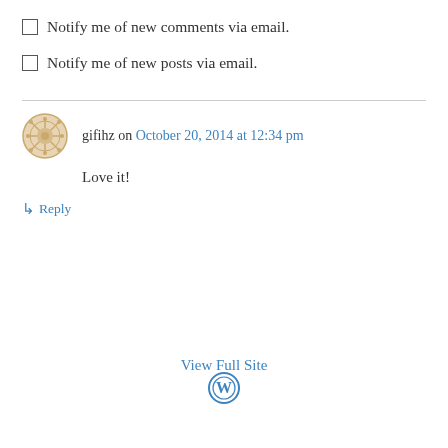Notify me of new comments via email.
Notify me of new posts via email.
gifihz on October 20, 2014 at 12:34 pm
Love it!
↳ Reply
View Full Site